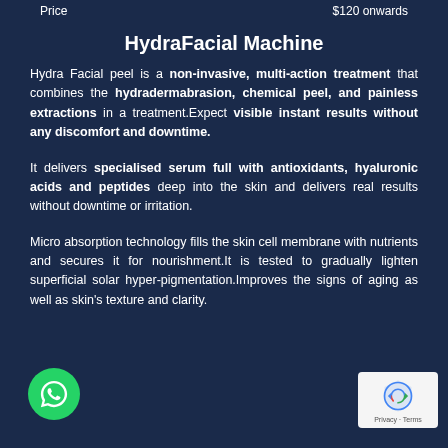Price   $120 onwards
HydraFacial Machine
Hydra Facial peel is a non-invasive, multi-action treatment that combines the hydradermabrasion, chemical peel, and painless extractions in a treatment.Expect visible instant results without any discomfort and downtime.
It delivers specialised serum full with antioxidants, hyaluronic acids and peptides deep into the skin and delivers real results without downtime or irritation.
Micro absorption technology fills the skin cell membrane with nutrients and secures it for nourishment.It is tested to gradually lighten superficial solar hyper-pigmentation.Improves the signs of aging as well as skin's texture and clarity.